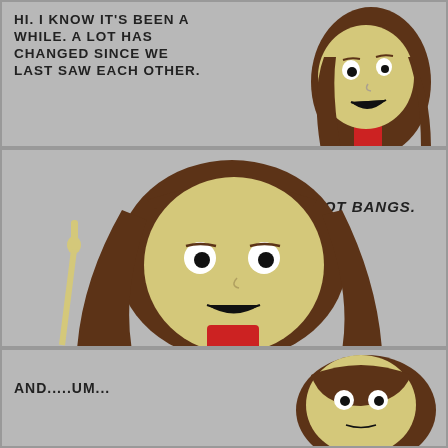[Figure (illustration): Comic strip panel 1: cartoon girl with long brown hair and red shirt, looking to the side. Text reads: 'HI. I KNOW IT'S BEEN A WHILE. A LOT HAS CHANGED SINCE WE LAST SAW EACH OTHER.']
[Figure (illustration): Comic strip panel 2: same cartoon girl now with bangs, pointing finger up. Text reads: 'I GOT BANGS.']
[Figure (illustration): Comic strip panel 3: partial view of same cartoon girl. Text reads: 'AND.....UM...']